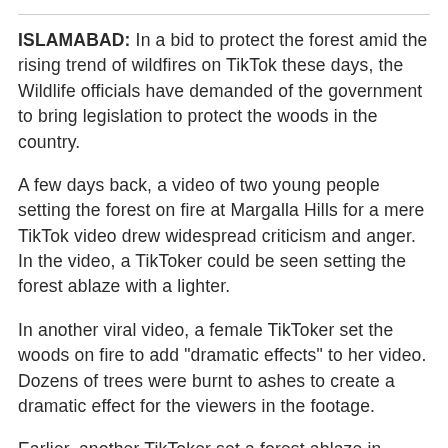ISLAMABAD: In a bid to protect the forest amid the rising trend of wildfires on TikTok these days, the Wildlife officials have demanded of the government to bring legislation to protect the woods in the country.
A few days back, a video of two young people setting the forest on fire at Margalla Hills for a mere TikTok video drew widespread criticism and anger. In the video, a TikToker could be seen setting the forest ablaze with a lighter.
In another viral video, a female TikToker set the woods on fire to add "dramatic effects" to her video. Dozens of trees were burnt to ashes to create a dramatic effect for the viewers in the footage.
Earlier, another TikToker set a forest ablaze in Abbottabad and at some point the clip cut to show the th...